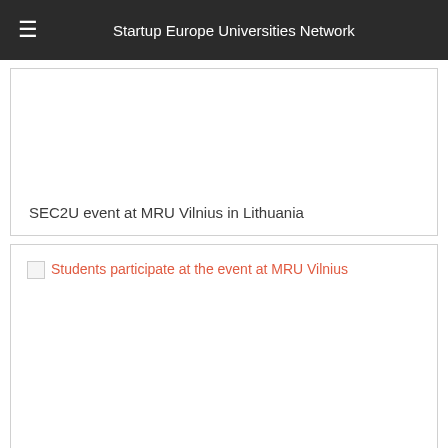≡  Startup Europe Universities Network
[Figure (other): Card with blank image area and caption: SEC2U event at MRU Vilnius in Lithuania]
SEC2U event at MRU Vilnius in Lithuania
[Figure (photo): Broken image placeholder with alt text: Students participate at the event at MRU Vilnius]